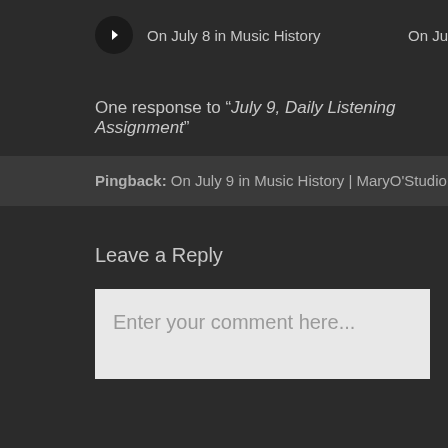On July 8 in Music History
One response to “July 9, Daily Listening Assignment”
Pingback: On July 9 in Music History | MaryO'Studio
Leave a Reply
Enter your comment here...